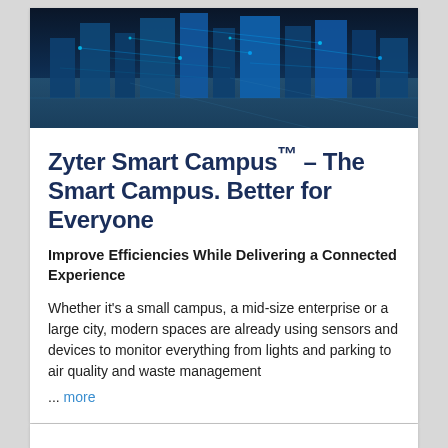[Figure (photo): Smart city / campus aerial photo with digital blue network overlay on buildings and roads]
Zyter Smart Campus™ – The Smart Campus. Better for Everyone
Improve Efficiencies While Delivering a Connected Experience
Whether it's a small campus, a mid-size enterprise or a large city, modern spaces are already using sensors and devices to monitor everything from lights and parking to air quality and waste management
... more